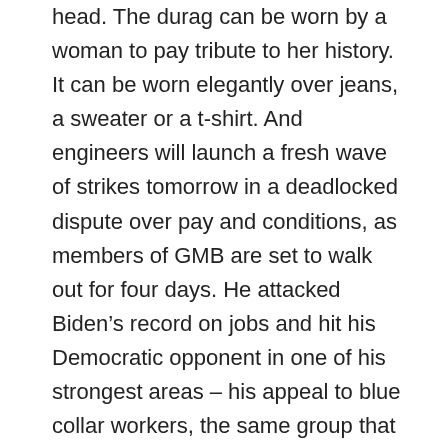head. The durag can be worn by a woman to pay tribute to her history. It can be worn elegantly over jeans, a sweater or a t-shirt. And engineers will launch a fresh wave of strikes tomorrow in a deadlocked dispute over pay and conditions, as members of GMB are set to walk out for four days. He attacked Biden's record on jobs and hit his Democratic opponent in one of his strongest areas – his appeal to blue collar workers, the same group that put Trump in the White House four years ago. Hulu was jointly owned by four parent companies for years, but in 2019 Disney bought all the shares of Hulu it didn't already own. The company also offers a bundle that combines Disney Plus with Hulu (with ads) and ESPN Plus, offering a discount if